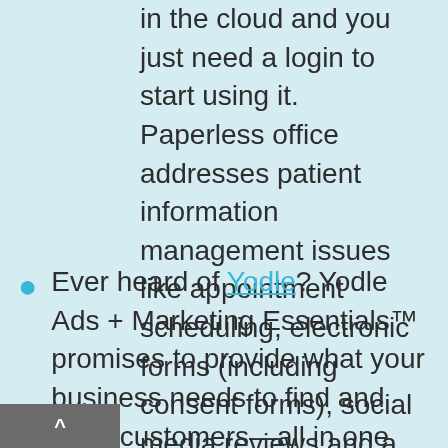in the cloud and you just need a login to start using it. Paperless office addresses patient information management issues like appointment scheduling, electronic forms (including consent forms), social media reviews and a patient portal.
Ever heard of Yodle? Yodle Ads + Marketing Essentials™ promises to provide what your business needs to find and keep customers—all in one integrated package: Ads, Web Presence, Customer Reviews, Local Search Placement, Email Marketing, Social Media, & Special Offers.